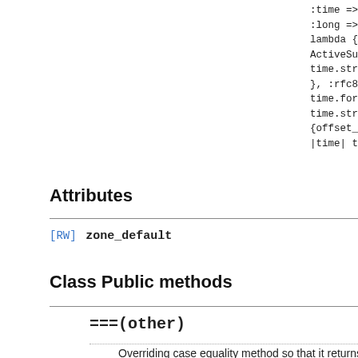:time => '%H:%M', :long => '%B %d, %Y' lambda { |time| day ActiveSupport::Infl time.strftime("%B # }, :rfc822 => lambo time.formatted_offs time.strftime("%a, {offset_format"}) } |time| time.iso8601
Attributes
[RW]   zone_default
Class Public methods
===(other)
Link
Overriding case equality method so that it returns true for ActiveSupport::TimeWithZone instances
Source: show | on GitHub